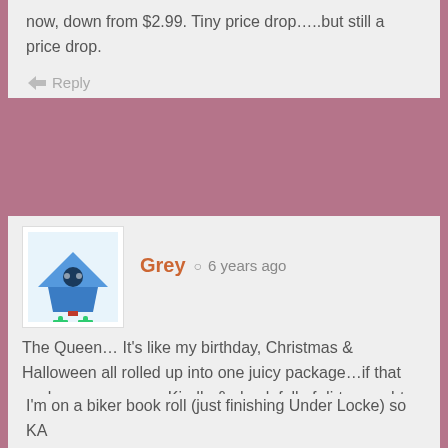now, down from $2.99. Tiny price drop…..but still a price drop.
Reply
Grey  6 years ago
The Queen… It's like my birthday, Christmas & Halloween all rolled up into one juicy package…if that package was on my Kindle & chock full of dirty naughty smut *shrug* cheers friends off with me!
Reply
Lisa  6 years ago
I'm on a biker book roll (just finishing Under Locke) so KA